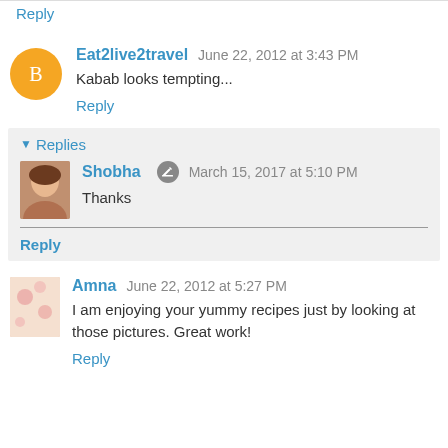Reply
Eat2live2travel   June 22, 2012 at 3:43 PM
Kabab looks tempting...
Reply
Replies
Shobha   March 15, 2017 at 5:10 PM
Thanks
Reply
Amna   June 22, 2012 at 5:27 PM
I am enjoying your yummy recipes just by looking at those pictures. Great work!
Reply